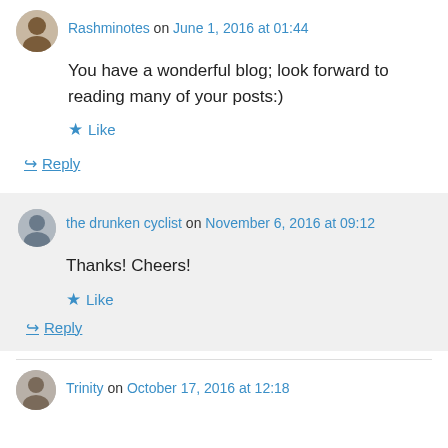Rashminotes on June 1, 2016 at 01:44
You have a wonderful blog; look forward to reading many of your posts:)
Like
Reply
the drunken cyclist on November 6, 2016 at 09:12
Thanks! Cheers!
Like
Reply
Trinity on October 17, 2016 at 12:18